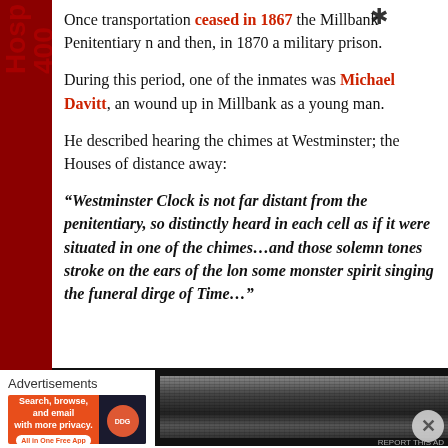Once transportation ceased in 1867 the Millbank Penitentiary n and then, in 1870 a military prison.
During this period, one of the inmates was Michael Davitt, an wound up in Millbank as a young man.
He described hearing the chimes at Westminster; the Houses of distance away:
“Westminster Clock is not far distant from the penitentiary, so distinctly heard in each cell as if it were situated in one of the chimes…and those solemn tones stroke on the ears of the lon some monster spirit singing the funeral dirge of Time…”
[Figure (photo): Black and white photograph showing a landscape/building view, partially visible]
Advertisements
[Figure (other): DuckDuckGo advertisement banner: Search, browse, and email with more privacy. All in One Free App]